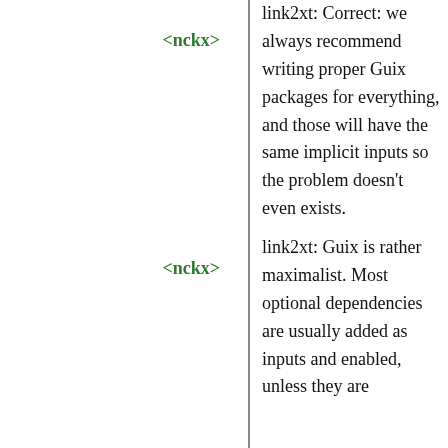<nckx>
link2xt: Correct: we always recommend writing proper Guix packages for everything, and those will have the same implicit inputs so the problem doesn't even exists.
<nckx>
link2xt: Guix is rather maximalist. Most optional dependencies are usually added as inputs and enabled, unless they are